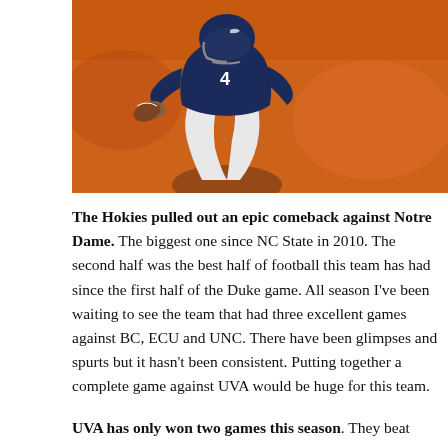[Figure (photo): A football player wearing a navy blue jersey with number 4 carrying the ball, running in front of an orange-clad crowd in the stadium stands.]
The Hokies pulled out an epic comeback against Notre Dame. The biggest one since NC State in 2010. The second half was the best half of football this team has had since the first half of the Duke game. All season I've been waiting to see the team that had three excellent games against BC, ECU and UNC. There have been glimpses and spurts but it hasn't been consistent. Putting together a complete game against UVA would be huge for this team.
UVA has only won two games this season. They beat Central Michigan at home and beat Duke on the road.